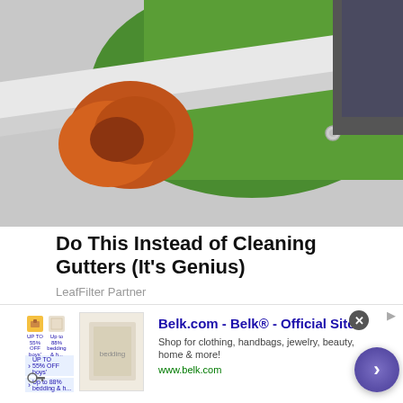[Figure (photo): Close-up photo of a home gutter with orange rust/debris visible, with a green lawn in the background]
Do This Instead of Cleaning Gutters (It's Genius)
LeafFilter Partner
[Figure (photo): Portrait photo of a smiling blonde woman against a dark background with pink flowers on the side]
[Figure (advertisement): Belk.com advertisement banner showing: Belk.com - Belk® - Official Site. Shop for clothing, handbags, jewelry, beauty, home & more! www.belk.com. With a close button and navigation arrow.]